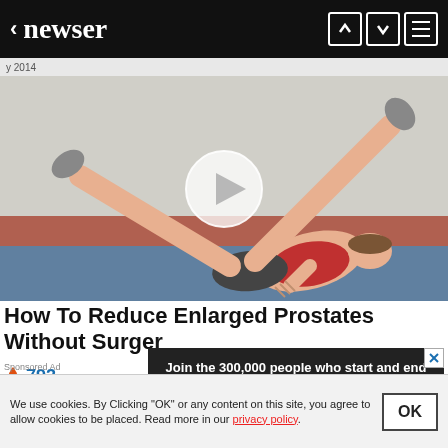< newser
[Figure (illustration): Cartoon illustration of a man lying on his back doing leg exercises, with a video play button overlay in the center]
How To Reduce Enlarged Prostates Without Surgery By Old Doctor
🔥 792
[Figure (infographic): Newsletter signup overlay: Join the 300,000 people who start and end their day with newser newsletters]
We use cookies. By Clicking "OK" or any content on this site, you agree to allow cookies to be placed. Read more in our privacy policy.